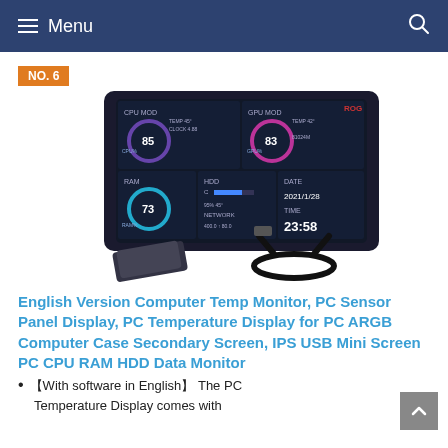≡ Menu
NO. 6
[Figure (photo): Product image of a PC temperature monitor display showing CPU MOD, GPU MOD, RAM, HDD, NETWORK, DATE and TIME readings on a small rectangular screen, along with a stand bracket and USB cable shown below.]
English Version Computer Temp Monitor, PC Sensor Panel Display, PC Temperature Display for PC ARGB Computer Case Secondary Screen, IPS USB Mini Screen PC CPU RAM HDD Data Monitor
【With software in English】 The PC
Temperature Display comes with